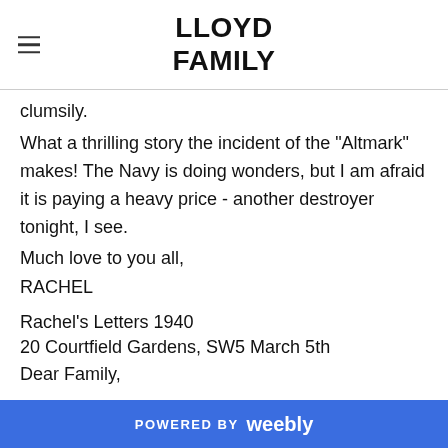LLOYD FAMILY
clumsily.
What a thrilling story the incident of the "Altmark" makes! The Navy is doing wonders, but I am afraid it is paying a heavy price - another destroyer tonight, I see.
Much love to you all,
RACHEL
Rachel's Letters 1940
20 Courtfield Gardens, SW5 March 5th
Dear Family,
POWERED BY weebly